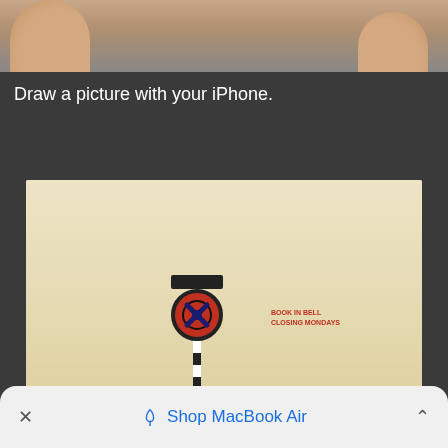[Figure (photo): Partial view of a person's hands/arms visible at top, cropped — appears to be someone drawing or using an iPhone, on a dark background]
Draw a picture with your iPhone.
[Figure (photo): Photograph of a 'no stopping' traffic sign on a black and white striped pole, set against a plain cream/beige wall with dark asphalt road surface at bottom. Small red text on wall to the right of the sign reads 'BOOK IN BELL / CLOSING MONDAYS'.]
Choose the wall you want to paste the picture on.
Shop MacBook Air